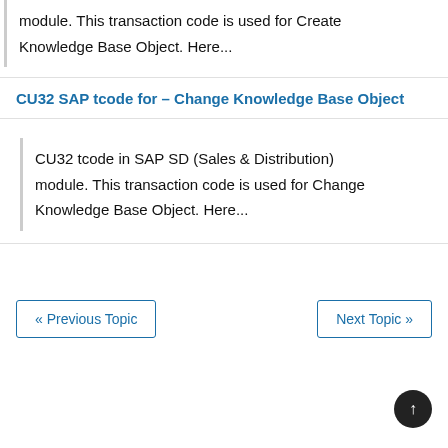module. This transaction code is used for Create Knowledge Base Object. Here...
CU32 SAP tcode for – Change Knowledge Base Object
CU32 tcode in SAP SD (Sales & Distribution) module. This transaction code is used for Change Knowledge Base Object. Here...
« Previous Topic
Next Topic »